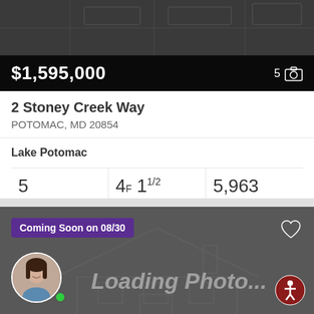[Figure (screenshot): Map background with house outline, dark overlay showing price $1,595,000 and photo count 5]
2 Stoney Creek Way
POTOMAC, MD 20854
Lake Potomac
5 Beds | 4F 1 1/2 Baths | 5,963 Sq.Ft.
Long & Foster Real Estate, Inc.
[Figure (screenshot): Second listing card with Coming Soon on 08/30 badge, agent avatar, Loading Photo... text, heart and accessibility icons]